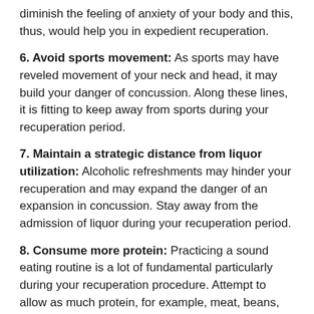diminish the feeling of anxiety of your body and this, thus, would help you in expedient recuperation.
6. Avoid sports movement: As sports may have reveled movement of your neck and head, it may build your danger of concussion. Along these lines, it is fitting to keep away from sports during your recuperation period.
7. Maintain a strategic distance from liquor utilization: Alcoholic refreshments may hinder your recuperation and may expand the danger of an expansion in concussion. Stay away from the admission of liquor during your recuperation period.
8. Consume more protein: Practicing a sound eating routine is a lot of fundamental particularly during your recuperation procedure. Attempt to allow as much protein, for example, meat, beans, fish, and nuts.
9. Eat food wealthy in Omega-3s: Omega-3s unsaturated fat aides in the recuperation of neurons